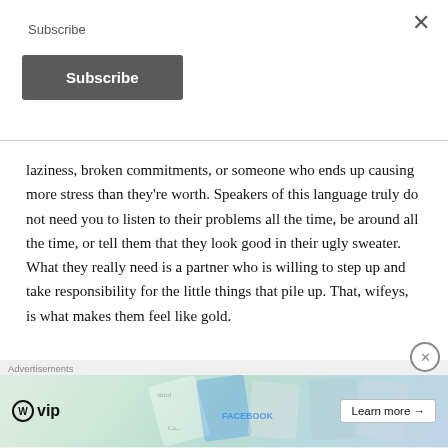Subscribe
[Figure (screenshot): Subscribe button (dark grey rounded rectangle with white bold text 'Subscribe')]
laziness, broken commitments, or someone who ends up causing more stress than they're worth. Speakers of this language truly do not need you to listen to their problems all the time, be around all the time, or tell them that they look good in their ugly sweater. What they really need is a partner who is willing to step up and take responsibility for the little things that pile up. That, wifeys, is what makes them feel like gold.
Physical Touch
[Figure (screenshot): Advertisement banner with WordPress VIP logo and 'Learn more' button, showing cards with social media logos (Facebook, etc.)]